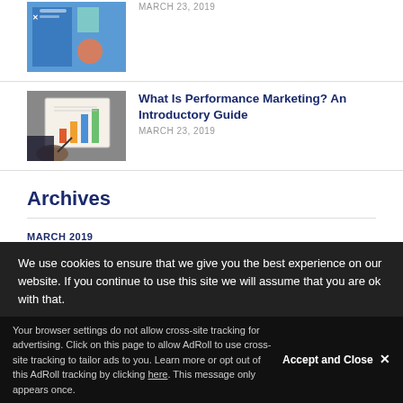[Figure (photo): Thumbnail image of marketing guide with colorful icons on blue background]
MARCH 23, 2019
[Figure (photo): Person holding a notebook with bar charts and graphs, writing with a pen]
What Is Performance Marketing? An Introductory Guide
MARCH 23, 2019
Archives
MARCH 2019
FEBRUARY 2019
MAY 2018
MARCH 2018
We use cookies to ensure that we give you the best experience on our website. If you continue to use this site we will assume that you are ok with that.
Accept and Close ✕
Your browser settings do not allow cross-site tracking for advertising. Click on this page to allow AdRoll to use cross-site tracking to tailor ads to you. Learn more or opt out of this AdRoll tracking by clicking here. This message only appears once.